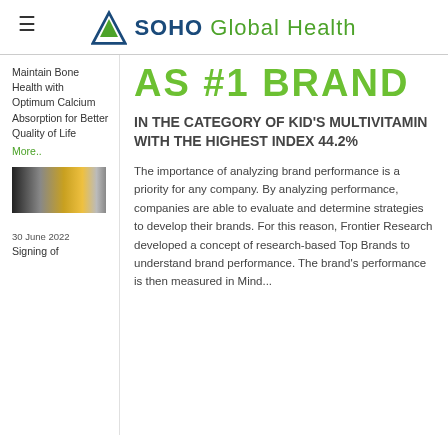SOHO Global Health
AS #1 BRAND
IN THE CATEGORY OF KID'S MULTIVITAMIN WITH THE HIGHEST INDEX 44.2%
Maintain Bone Health with Optimum Calcium Absorption for Better Quality of Life
More..
[Figure (photo): Small thumbnail photo strip with dark and golden tones]
30 June 2022
Signing of
The importance of analyzing brand performance is a priority for any company. By analyzing performance, companies are able to evaluate and determine strategies to develop their brands. For this reason, Frontier Research developed a concept of research-based Top Brands to understand brand performance. The brand's performance is then measured in Mind...